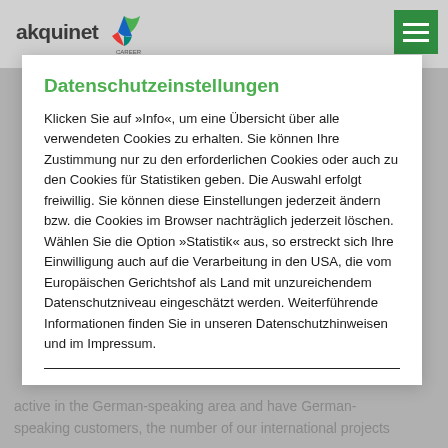akquinet CAREER
Datenschutzeinstellungen
Klicken Sie auf »Info«, um eine Übersicht über alle verwendeten Cookies zu erhalten. Sie können Ihre Zustimmung nur zu den erforderlichen Cookies oder auch zu den Cookies für Statistiken geben. Die Auswahl erfolgt freiwillig. Sie können diese Einstellungen jederzeit ändern bzw. die Cookies im Browser nachträglich jederzeit löschen. Wählen Sie die Option »Statistik« aus, so erstreckt sich Ihre Einwilligung auch auf die Verarbeitung in den USA, die vom Europäischen Gerichtshof als Land mit unzureichendem Datenschutzniveau eingeschätzt werden. Weiterführende Informationen finden Sie in unseren Datenschutzhinweisen und im Impressum.
active in the German-speaking area and have German-speaking customers, the number of our international projects